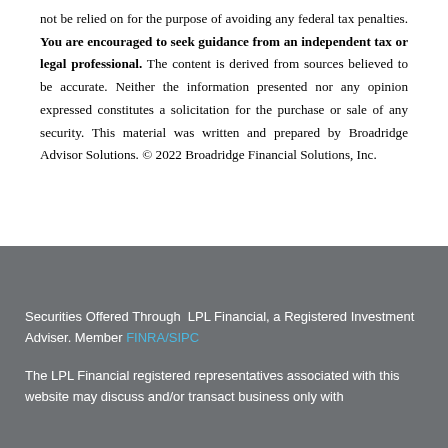not be relied on for the purpose of avoiding any federal tax penalties. You are encouraged to seek guidance from an independent tax or legal professional. The content is derived from sources believed to be accurate. Neither the information presented nor any opinion expressed constitutes a solicitation for the purchase or sale of any security. This material was written and prepared by Broadridge Advisor Solutions. © 2022 Broadridge Financial Solutions, Inc.
Securities Offered Through  LPL Financial, a Registered Investment Adviser. Member FINRA/SIPC
The LPL Financial registered representatives associated with this website may discuss and/or transact business only with